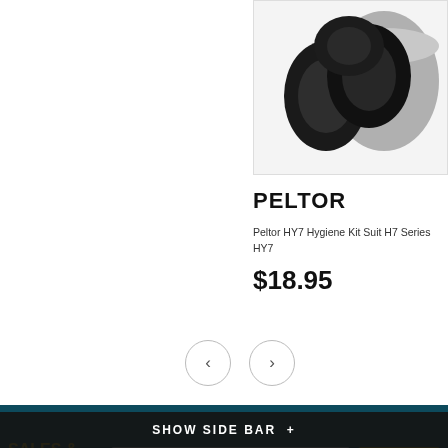[Figure (photo): Product photo of Peltor HY7 hygiene kit ear cushions/pads on grey background]
PELTOR
Peltor HY7 Hygiene Kit Suit H7 Series HY7
$18.95
[Figure (other): Left and right navigation arrow buttons (previous/next carousel controls)]
SALES & SPECIAL OFFERS
Enter your email
SIGN UP
LOCAL FAMILY OW...
SHOW SIDE BAR +